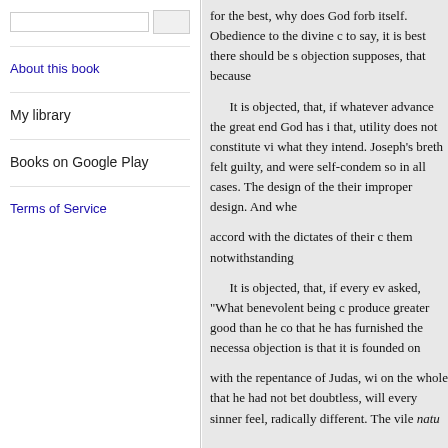About this book
My library
Books on Google Play
Terms of Service
for the best, why does God forb itself. Obedience to the divine c to say, it is best there should be s objection supposes, that because
It is objected, that, if whatever advance the great end God has i that, utility does not constitute vi what they intend. Joseph's breth felt guilty, and were self-condem so in all cases. The design of the their improper design. And whe
accord with the dictates of their c them notwithstanding
It is objected, that, if every ev asked, "What benevolent being c produce greater good than he co that he has furnished the necessa objection is that it is founded on
with the repentance of Judas, wi on the whole that he had not bet doubtless, will every sinner feel, radically different. The vile natu